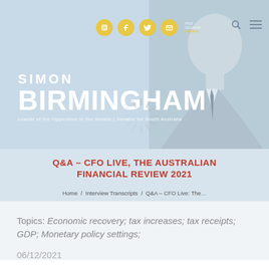[Figure (photo): Hero banner with light blue background showing Simon Birmingham's portrait on the right side, social media icons (Instagram, Facebook, Twitter, email) in gold circles, and navigation icons. Name displayed prominently in white text.]
Q&A – CFO LIVE, THE AUSTRALIAN FINANCIAL REVIEW 2021
Home / Interview Transcripts / Q&A – CFO Live: The…
Topics: Economic recovery; tax increases; tax receipts; GDP; Monetary policy settings;
06/12/2021